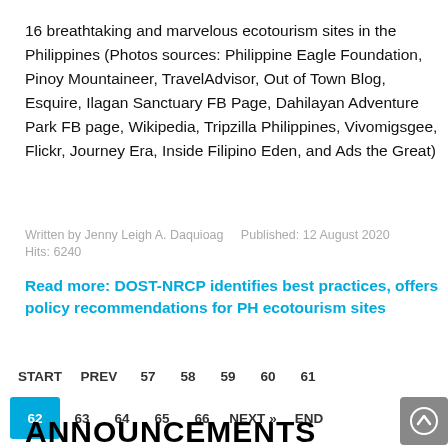16 breathtaking and marvelous ecotourism sites in the Philippines (Photos sources: Philippine Eagle Foundation, Pinoy Mountaineer, TravelAdvisor, Out of Town Blog, Esquire, Ilagan Sanctuary FB Page, Dahilayan Adventure Park FB page, Wikipedia, Tripzilla Philippines, Vivomigsgee, Flickr, Journey Era, Inside Filipino Eden, and Ads the Great)
Written by Jenny Leigh A. Daquioag    Published: 12 August 2020
Hits: 6240
Read more: DOST-NRCP identifies best practices, offers policy recommendations for PH ecotourism sites
START  PREV  57  58  59  60  61  62  63  64  65  66  NEXT »  END
ANNOUNCEMENTS